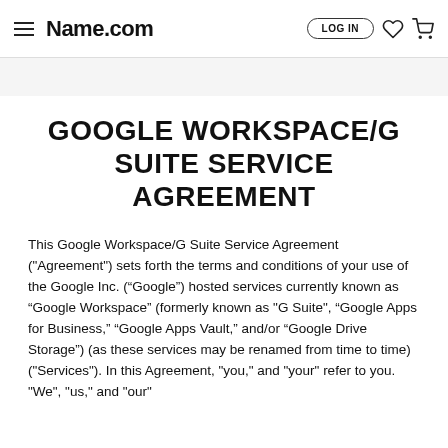Name.com — LOG IN
GOOGLE WORKSPACE/G SUITE SERVICE AGREEMENT
This Google Workspace/G Suite Service Agreement ("Agreement") sets forth the terms and conditions of your use of the Google Inc. (“Google”) hosted services currently known as “Google Workspace” (formerly known as "G Suite", “Google Apps for Business,” “Google Apps Vault,” and/or “Google Drive Storage”) (as these services may be renamed from time to time) ("Services"). In this Agreement, "you," and "your" refer to you. "We", "us," and "our"